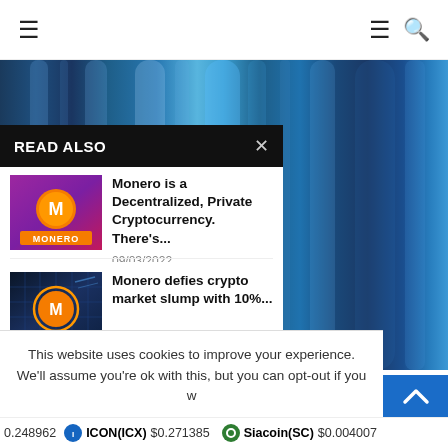Navigation bar with hamburger menu and search icon
[Figure (photo): Blue abstract bokeh/light streak background image]
READ ALSO
[Figure (photo): Monero cryptocurrency logo on purple/pink gradient background]
Monero is a Decentralized, Private Cryptocurrency. There's...
09/03/2022
[Figure (photo): Monero logo on dark digital/tech background]
Monero defies crypto market slump with 10%...
This website uses cookies to improve your experience. We'll assume you're ok with this, but you can opt-out if you w
0.248962   ICON(ICX) $0.271385   Siacoin(SC) $0.004007